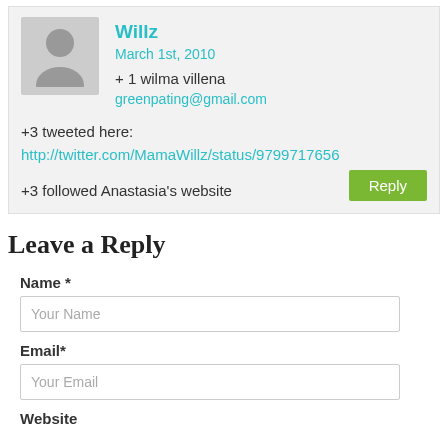Willz
March 1st, 2010
+ 1 wilma villena
greenpating@gmail.com
+3 tweeted here:
http://twitter.com/MamaWillz/status/9799717656
+3 followed Anastasia's website
Reply
Leave a Reply
Name *
Your Name
Email*
Your Email
Website